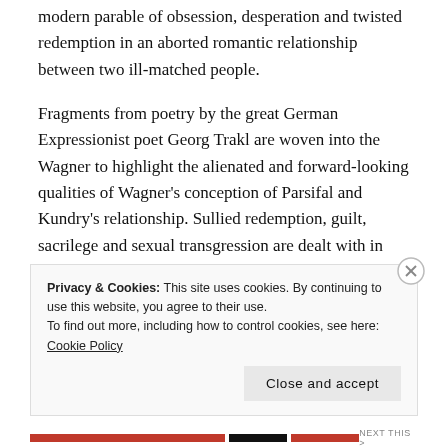modern parable of obsession, desperation and twisted redemption in an aborted romantic relationship between two ill-matched people.
Fragments from poetry by the great German Expressionist poet Georg Trakl are woven into the Wagner to highlight the alienated and forward-looking qualities of Wagner's conception of Parsifal and Kundry's relationship. Sullied redemption, guilt, sacrilege and sexual transgression are dealt with in strikingly similar ways by both Wagner and Trakl. The title- Climbing Toward Midnight- is drawn from the latter.
Privacy & Cookies: This site uses cookies. By continuing to use this website, you agree to their use. To find out more, including how to control cookies, see here: Cookie Policy
Close and accept